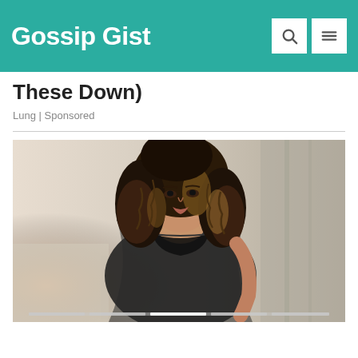Gossip Gist
These Down)
Lung | Sponsored
[Figure (photo): A woman with long curly ombre hair wearing a black sheer robe over black lingerie, seated and looking to the side in a softly lit room with curtains in the background. A horizontal slider navigation bar is visible at the bottom of the image.]